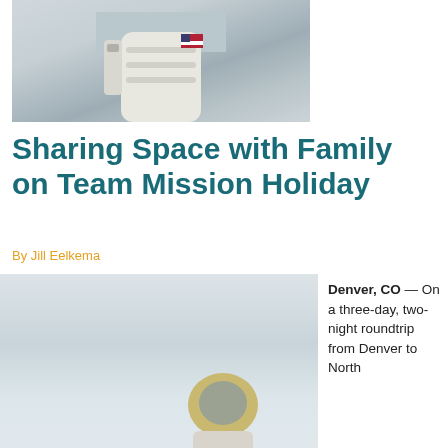[Figure (photo): Person wearing a white astronaut suit with an American flag patch, standing near water. Only the torso/suit visible, cropped at top.]
Sharing Space with Family on Team Mission Holiday
By Jill Eelkema
[Figure (photo): Person wearing a space helmet/suit, photographed from behind or side, light gray background.]
Denver, CO — On a three-day, two-night roundtrip from Denver to North